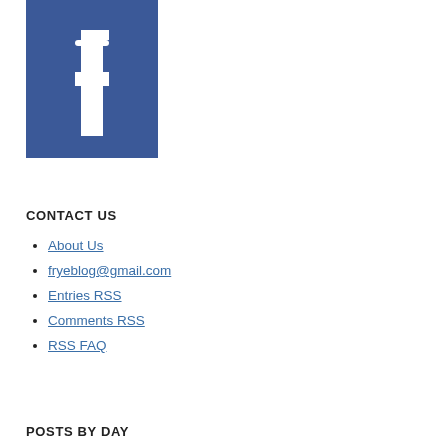[Figure (logo): Facebook logo — blue square with white 'f' letter mark]
CONTACT US
About Us
fryeblog@gmail.com
Entries RSS
Comments RSS
RSS FAQ
POSTS BY DAY